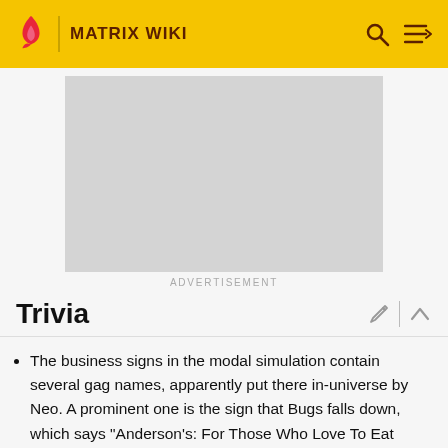MATRIX WIKI
[Figure (other): Advertisement placeholder — gray rectangle]
ADVERTISEMENT
Trivia
The business signs in the modal simulation contain several gag names, apparently put there in-universe by Neo. A prominent one is the sign that Bugs falls down, which says "Anderson's: For Those Who Love To Eat Shit". Also Echo runs past a sign that says "Sabor a Mierda", which in Spanish means "A Taste of Shit".